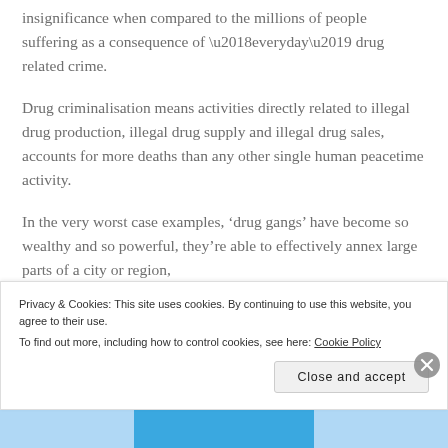insignificance when compared to the millions of people suffering as a consequence of ‘everyday’ drug related crime.
Drug criminalisation means activities directly related to illegal drug production, illegal drug supply and illegal drug sales, accounts for more deaths than any other single human peacetime activity.
In the very worst case examples, ‘drug gangs’ have become so wealthy and so powerful, they’re able to effectively annex large parts of a city or region,
Privacy & Cookies: This site uses cookies. By continuing to use this website, you agree to their use.
To find out more, including how to control cookies, see here: Cookie Policy
Close and accept